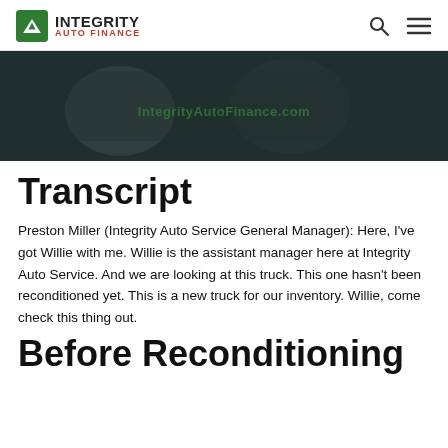[Figure (logo): Integrity Auto Finance logo with green arrow icon and company name]
[Figure (photo): Dark image of people inside a vehicle with IntegrityAutoFinance.com watermark]
Transcript
Preston Miller (Integrity Auto Service General Manager): Here, I've got Willie with me. Willie is the assistant manager here at Integrity Auto Service. And we are looking at this truck. This one hasn't been reconditioned yet. This is a new truck for our inventory. Willie, come check this thing out.
Before Reconditioning